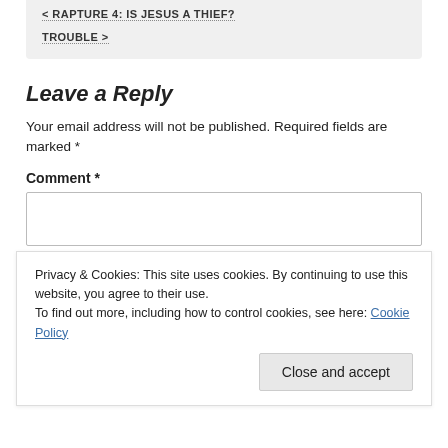< RAPTURE 4: IS JESUS A THIEF?
TROUBLE >
Leave a Reply
Your email address will not be published. Required fields are marked *
Comment *
Privacy & Cookies: This site uses cookies. By continuing to use this website, you agree to their use.
To find out more, including how to control cookies, see here: Cookie Policy
Close and accept